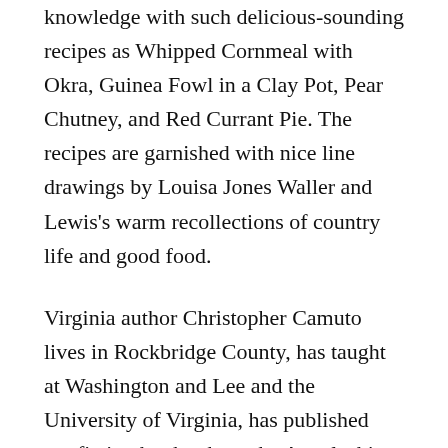knowledge with such delicious-sounding recipes as Whipped Cornmeal with Okra, Guinea Fowl in a Clay Pot, Pear Chutney, and Red Currant Pie. The recipes are garnished with nice line drawings by Louisa Jones Waller and Lewis's warm recollections of country life and good food.
Virginia author Christopher Camuto lives in Rockbridge County, has taught at Washington and Lee and the University of Virginia, has published nonfiction books about the Appalachian Mountains, and writes columns for such magazines as Audubon and Trout. He headed to North Carolina to chronicle Cherokee Indians and wolves in Another Country: Journeying Toward the Cherokee Mountains, originally published in 1997 and reprinted by the University of Georgia Press (2000, xii